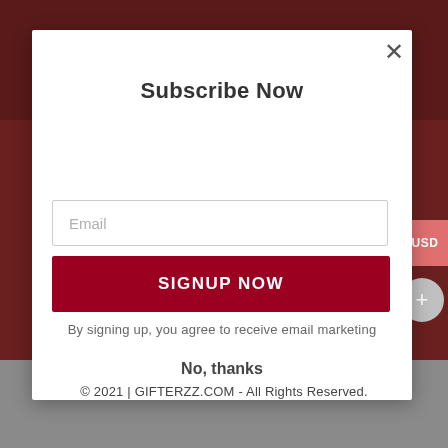Subscribe Now
Email
SIGNUP NOW
By signing up, you agree to receive email marketing
No, thanks
© 2021 | GIFTERZZ.COM - All Rights Reserved.